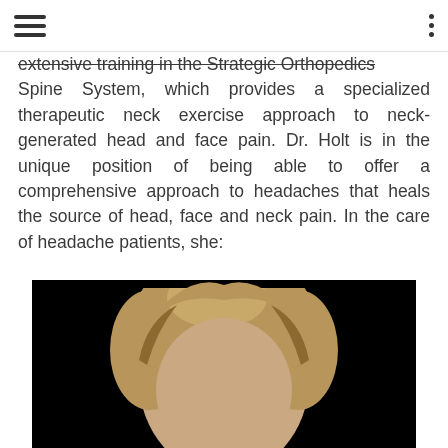≡  ⋮
extensive training in the Strategic Orthopedics Spine System, which provides a specialized therapeutic neck exercise approach to neck-generated head and face pain. Dr. Holt is in the unique position of being able to offer a comprehensive approach to headaches that heals the source of head, face and neck pain. In the care of headache patients, she:
[Figure (photo): Portrait photo of a person (Dr. Holt) with short blonde/light brown hair against a black background, cropped to show top of head and upper face only.]